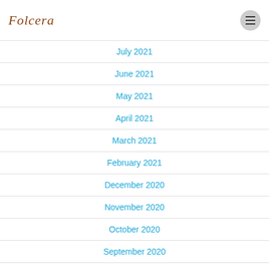Folcera
July 2021
June 2021
May 2021
April 2021
March 2021
February 2021
December 2020
November 2020
October 2020
September 2020